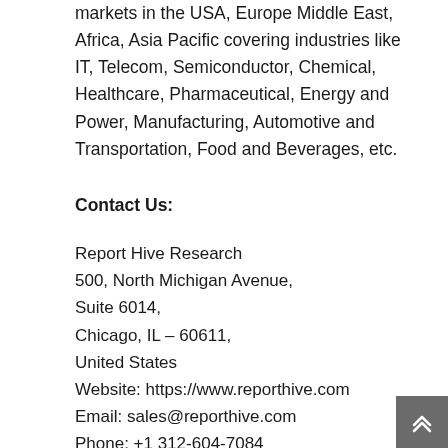markets in the USA, Europe Middle East, Africa, Asia Pacific covering industries like IT, Telecom, Semiconductor, Chemical, Healthcare, Pharmaceutical, Energy and Power, Manufacturing, Automotive and Transportation, Food and Beverages, etc.
Contact Us:
Report Hive Research
500, North Michigan Avenue,
Suite 6014,
Chicago, IL – 60611,
United States
Website: https://www.reporthive.com
Email: sales@reporthive.com
Phone: +1 312-604-7084